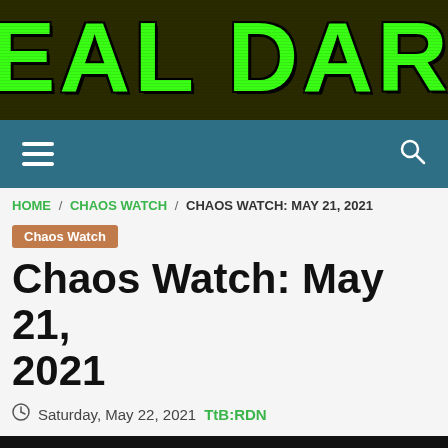[Figure (logo): Real Dark News website banner logo with large green text on dark background reading 'EAL DARK NE' (partially cropped)]
Navigation bar with hamburger menu icon and search icon on teal background
HOME / CHAOS WATCH / CHAOS WATCH: MAY 21, 2021
Chaos Watch
Chaos Watch: May 21, 2021
Saturday, May 22, 2021  TtB:RDN
[Figure (photo): Dark image with 'Chaos Watch' text in tan/gold italic serif font, with scroll-to-top button in teal on right]